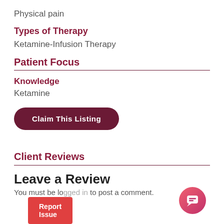Physical pain
Types of Therapy
Ketamine-Infusion Therapy
Patient Focus
Knowledge
Ketamine
Claim This Listing
Client Reviews
Leave a Review
You must be logged in to post a comment.
Report Issue